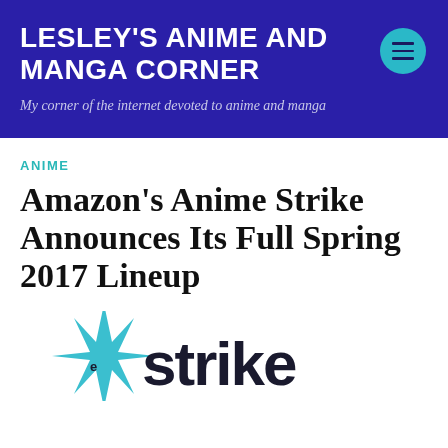LESLEY'S ANIME AND MANGA CORNER
My corner of the internet devoted to anime and manga
ANIME
Amazon's Anime Strike Announces Its Full Spring 2017 Lineup
[Figure (logo): Anime Strike logo — teal starburst shape on the left with bold dark text reading 'strike']